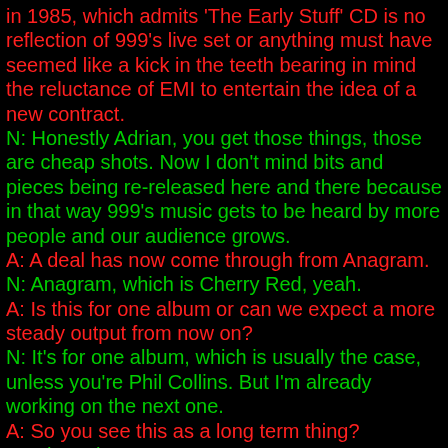in 1985, which admits 'The Early Stuff' CD is no reflection of 999's live set or anything must have seemed like a kick in the teeth bearing in mind the reluctance of EMI to entertain the idea of a new contract.
N: Honestly Adrian, you get those things, those are cheap shots. Now I don't mind bits and pieces being re-released here and there because in that way 999's music gets to be heard by more people and our audience grows.
A: A deal has now come through from Anagram.
N: Anagram, which is Cherry Red, yeah.
A: Is this for one album or can we expect a more steady output from now on?
N: It's for one album, which is usually the case, unless you're Phil Collins. But I'm already working on the next one.
A: So you see this as a long term thing?
N: Oh yeah.
A: The album is a big departure, it's a bloody fast album and it's far more in tune with your live performance that anything else. As you said earlier, it's more like a follow up to '999' or 'Separates' than your more recent studio output. '13th Floor Madness', I dunno what you think about that album, but I have to be in a certain mood to listen to that album.
N: Yeah, well it wasn't a very good album was it! It was after.... We were forced into doing it by the record company and we got a bit dissipated. You see, Guy's a very good guitarist and musician and he can play that sort of stuff.